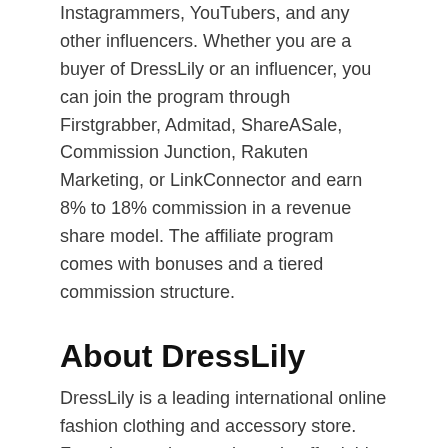Instagrammers, YouTubers, and any other influencers. Whether you are a buyer of DressLily or an influencer, you can join the program through Firstgrabber, Admitad, ShareASale, Commission Junction, Rakuten Marketing, or LinkConnector and earn 8% to 18% commission in a revenue share model. The affiliate program comes with bonuses and a tiered commission structure.
About DressLily
DressLily is a leading international online fashion clothing and accessory store. Focusing on the very latest in affordable fashion styles, both attire, and stunning accessories, they feature thousands of the newest product lines, providing maximum choice and convenience to their discerning clientele. They also aim to provide an extensive range of high quality, trendy fashion clothing together with a professional dedicated service to their valued customers from all over the world. Watch this video to get an idea of what kind of products DressLily